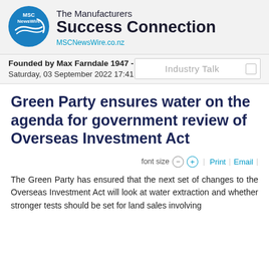[Figure (logo): MSC NewsWire circular logo in blue with white text and speed lines]
The Manufacturers Success Connection
MSCNewsWire.co.nz
Founded by Max Farndale 1947 - 2018
Saturday, 03 September 2022 17:41
Green Party ensures water on the agenda for government review of Overseas Investment Act
font size  Print  Email
The Green Party has ensured that the next set of changes to the Overseas Investment Act will look at water extraction and whether stronger tests should be set for land sales involving